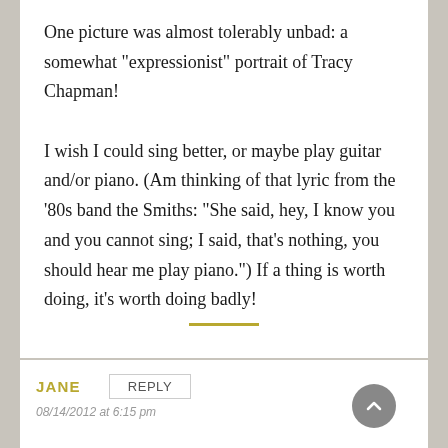One picture was almost tolerably unbad: a somewhat "expressionist" portrait of Tracy Chapman!

I wish I could sing better, or maybe play guitar and/or piano. (Am thinking of that lyric from the '80s band the Smiths: "She said, hey, I know you and you cannot sing; I said, that's nothing, you should hear me play piano.") If a thing is worth doing, it's worth doing badly!
JANE  REPLY
08/14/2012 at 6:15 pm